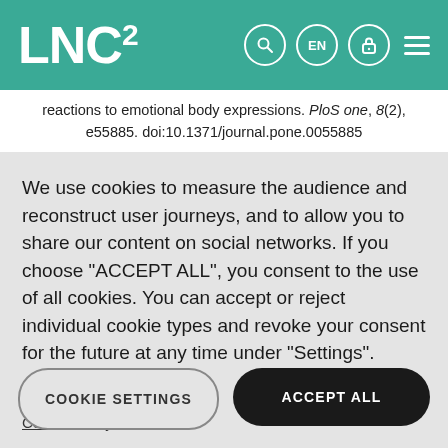LNC²
reactions to emotional body expressions. PloS one, 8(2), e55885. doi:10.1371/journal.pone.0055885
We use cookies to measure the audience and reconstruct user journeys, and to allow you to share our content on social networks. If you choose "ACCEPT ALL", you consent to the use of all cookies. You can accept or reject individual cookie types and revoke your consent for the future at any time under "Settings".
Privacy policy
Cookie Policy